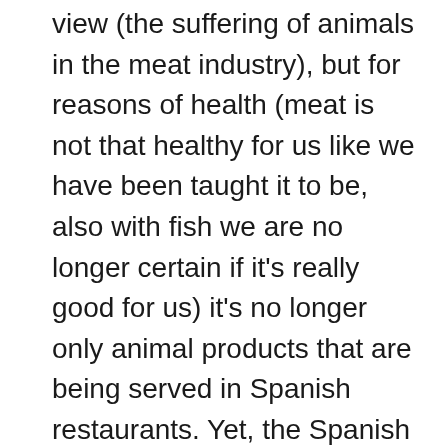view (the suffering of animals in the meat industry), but for reasons of health (meat is not that healthy for us like we have been taught it to be, also with fish we are no longer certain if it's really good for us) it's no longer only animal products that are being served in Spanish restaurants. Yet, the Spanish kitchen is unthinkable without meat and fish. There's still a long, long way to go. The pintxos and tapas being served in cafés and bars in Spain are often made up with ham, cheese or fish. Here on Ibiza people love barbeque parties (and not only on Ibiza!) where putting steaks and spareribs on the barbeque is an essential part of the whole event. It's obvious that Spain has a meat culture and so has France.